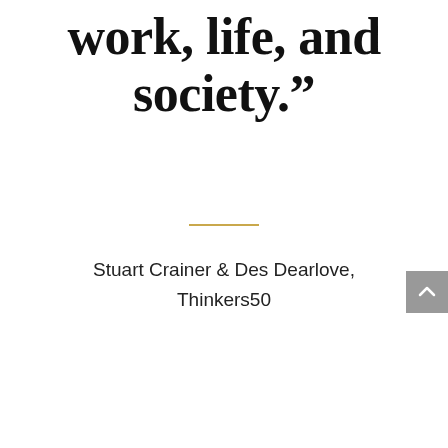work, life, and society.”
Stuart Crainer & Des Dearlove, Thinkers50